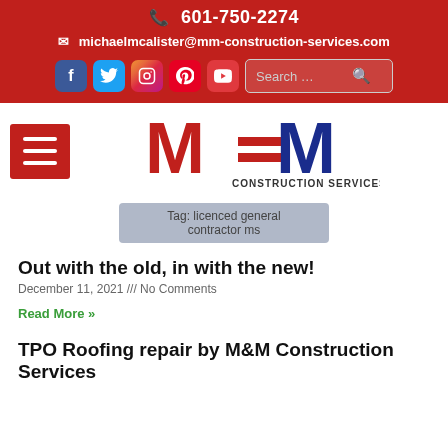📞 601-750-2274
✉ michaelmcalister@mm-construction-services.com
[Figure (logo): M&M Construction Services LLC logo with red M and blue M and tagline]
Tag: licenced general contractor ms
Out with the old, in with the new!
December 11, 2021 /// No Comments
Read More »
TPO Roofing repair by M&M Construction Services